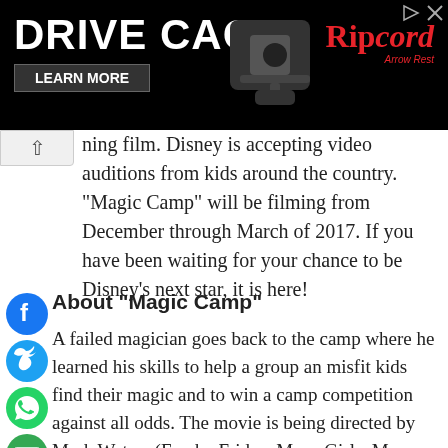[Figure (screenshot): Advertisement banner for Drive Cage product by Ripcord Arrow Rest, black background with product image and red Ripcord logo, Learn More button]
ning film. Disney is accepting video auditions from kids around the country. "Magic Camp" will be filming from December through March of 2017. If you have been waiting for your chance to be Disney's next star, it is here!
About "Magic Camp"
A failed magician goes back to the camp where he learned his skills to help a group an misfit kids find their magic and to win a camp competition against all odds. The movie is being directed by Mark Waters (Freaky Friday, Mean Girls, Mr. Poppers Penguins) and is being produced by Suzanne Todd (Alice in Wonderland, Memento, Austin Poers) The movie is to be distributed by The Disney Studios Motion Pictures. It is rumored that Steve Martin will star in the